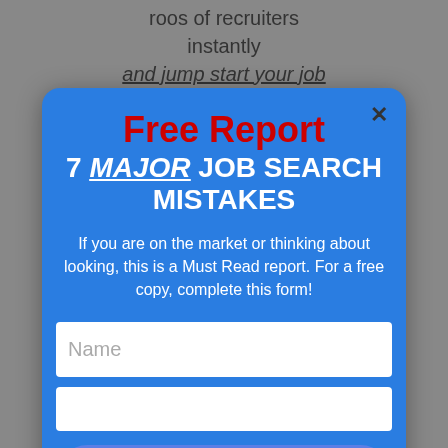roos of recruiters instantly and jump start your job
Free Report
7 MAJOR JOB SEARCH MISTAKES
If you are on the market or thinking about looking, this is a Must Read report. For a free copy, complete this form!
Name
Contact